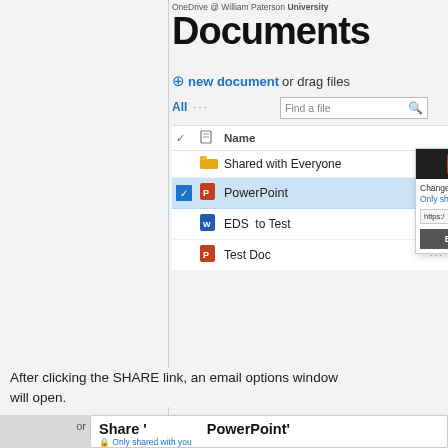OneDrive @ William Paterson University
Documents
+ new document or drag files
[Figure (screenshot): OneDrive file list showing Documents folder with files: Shared with Everyone (folder), PowerPoint (selected, highlighted blue), EDS to Test (Word doc), Test Doc (PowerPoint). A context popup panel is visible on the right showing PowerPoint icon, Change option, Only sha... link, https:// URL, and EDIT button.]
After clicking the SHARE link, an email options window will open.
[Figure (screenshot): Share dialog panel showing 'Share ' PowerPoint' title and 'Only shared with you' subtitle.]